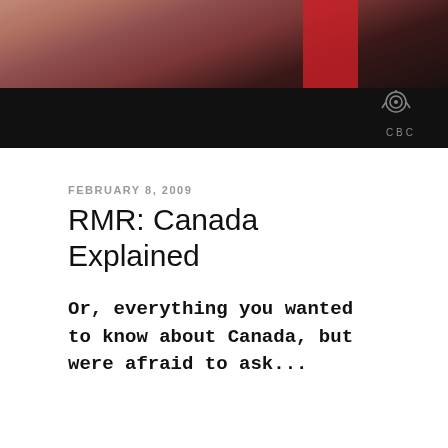[Figure (photo): A screenshot from a CBC television broadcast showing a person in front of a red flag, with CBC logo watermark in the top right corner and a dark lower bar.]
FEBRUARY 8, 2009
RMR: Canada Explained
Or, everything you wanted to know about Canada, but were afraid to ask...